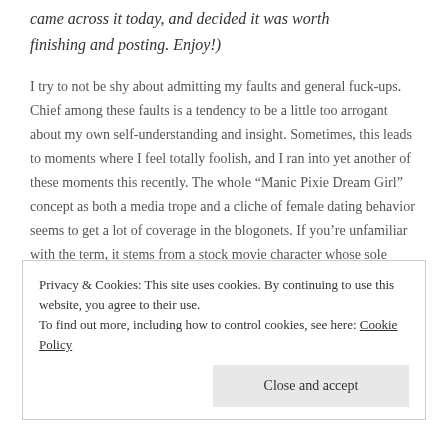came across it today, and decided it was worth finishing and posting. Enjoy!)
I try to not be shy about admitting my faults and general fuck-ups. Chief among these faults is a tendency to be a little too arrogant about my own self-understanding and insight. Sometimes, this leads to moments where I feel totally foolish, and I ran into yet another of these moments this recently. The whole “Manic Pixie Dream Girl” concept as both a media trope and a cliche of female dating behavior seems to get a lot of coverage in the blogonets. If you’re unfamiliar with the term, it stems from a stock movie character whose sole
Privacy & Cookies: This site uses cookies. By continuing to use this website, you agree to their use.
To find out more, including how to control cookies, see here: Cookie Policy
Close and accept